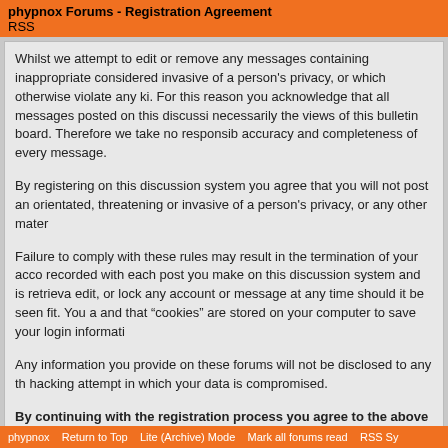phypnox Forums - Registration Agreement
RSS
Whilst we attempt to edit or remove any messages containing inappropriate considered invasive of a person's privacy, or which otherwise violate any ki. For this reason you acknowledge that all messages posted on this discussi necessarily the views of this bulletin board. Therefore we take no responsib accuracy and completeness of every message.
By registering on this discussion system you agree that you will not post an orientated, threatening or invasive of a person's privacy, or any other mater
Failure to comply with these rules may result in the termination of your acco recorded with each post you make on this discussion system and is retrieva edit, or lock any account or message at any time should it be seen fit. You a and that "cookies" are stored on your computer to save your login informati
Any information you provide on these forums will not be disclosed to any th hacking attempt in which your data is compromised.
By continuing with the registration process you agree to the above ru
phypnox   Return to Top   Lite (Archive) Mode   Mark all forums read   RSS Sy